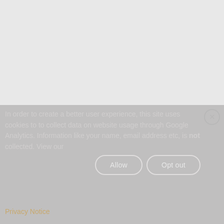[Figure (screenshot): Light grey background area representing a webpage content area above a cookie consent banner]
In order to create a better user experience, this site uses cookies to to collect data on website usage through Google Analytics. Information like your name, email address etc, is not collected. View our
Privacy Notice